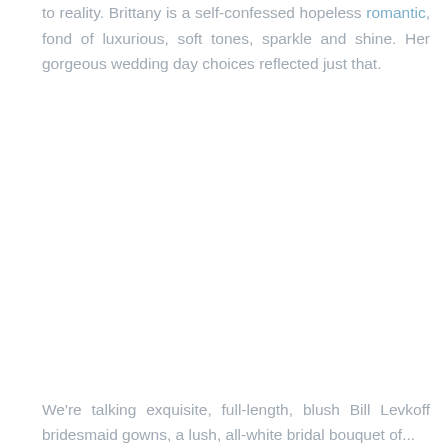to reality. Brittany is a self-confessed hopeless romantic, fond of luxurious, soft tones, sparkle and shine. Her gorgeous wedding day choices reflected just that.
We're talking exquisite, full-length, blush Bill Levkoff bridesmaid gowns, a lush, all-white bridal bouquet of...